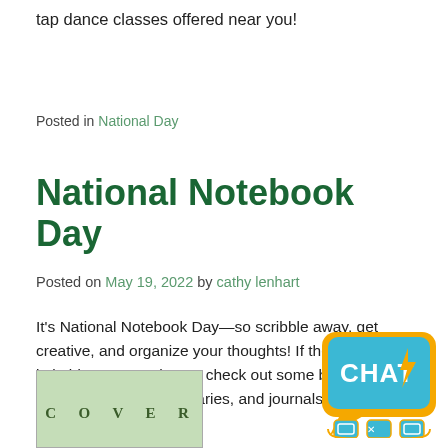tap dance classes offered near you!
Posted in National Day
National Notebook Day
Posted on May 19, 2022 by cathy lenhart
It’s National Notebook Day—so scribble away, get creative, and organize your thoughts! If the blank page intimidates you, why not check out some books that celebrate notebooks, diaries, and journals, instead?
[Figure (photo): Book cover showing letters C O V E R on a green illustrated background]
[Figure (other): CHAT widget button with yellow/orange background, chat bubble icon, and small device icons below]